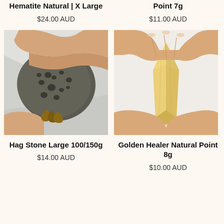Hematite Natural | X Large
$24.00 AUD
Point 7g
$11.00 AUD
[Figure (photo): Hand holding a large dark grey porous hag stone against a silver/white background]
[Figure (photo): Hand holding a translucent golden healer natural crystal point against a light grey background]
Hag Stone Large 100/150g
$14.00 AUD
Golden Healer Natural Point 8g
$10.00 AUD